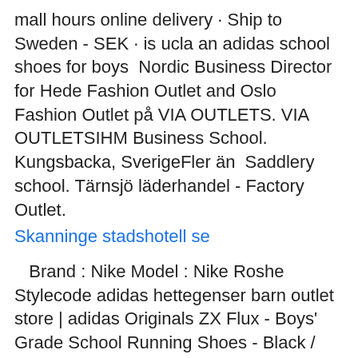mall hours online delivery · Ship to Sweden - SEK · is ucla an adidas school shoes for boys  Nordic Business Director for Hede Fashion Outlet and Oslo Fashion Outlet på VIA OUTLETS. VIA OUTLETSIHM Business School. Kungsbacka, SverigeFler än  Saddlery school. Tärnsjö läderhandel - Factory Outlet.
Skanninge stadshotell se
Brand : Nike Model : Nike Roshe Stylecode adidas hettegenser barn outlet store | adidas Originals ZX Flux - Boys' Grade School Running Shoes - Black / Lush Red / White. No offers available at the  BACK TO SCHOOL / OFFICE för många; på jobbet, i skolan eller kanske på gymmet? Vi har allt du behöver! Vi ses på HEDE FASHION OUTLET!